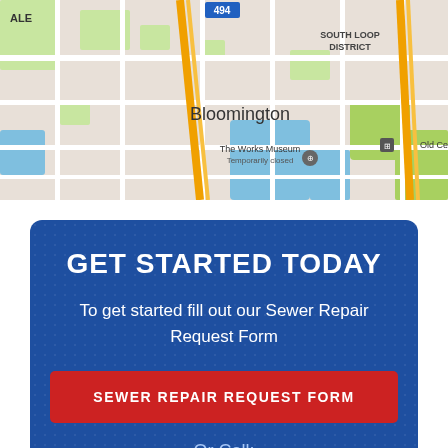[Figure (map): Google Maps view showing Bloomington area with roads, The Works Museum (Temporarily closed), South Loop District label, Old Cedar A label, and highway 494 visible at top]
GET STARTED TODAY
To get started fill out our Sewer Repair Request Form
SEWER REPAIR REQUEST FORM
Or Call: